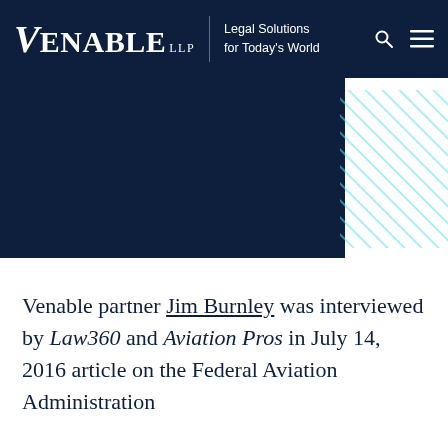VENABLE LLP — Legal Solutions for Today's World
[Figure (illustration): Dark navy blue hero/banner area with decorative diagonal cyan/teal stripe pattern panel on the right side]
Venable partner Jim Burnley was interviewed by Law360 and Aviation Pros in July 14, 2016 article on the Federal Aviation Administration